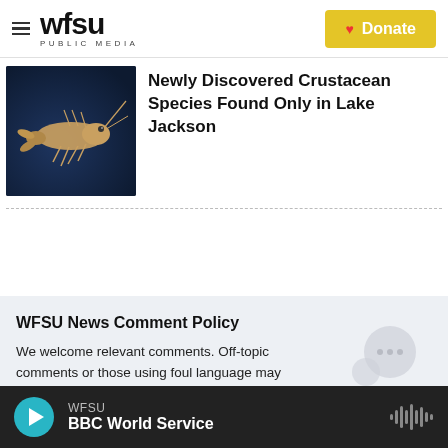WFSU PUBLIC MEDIA | Donate
[Figure (photo): Illustration of a crustacean (amphipod/shrimp-like creature) on a dark blue background]
Newly Discovered Crustacean Species Found Only in Lake Jackson
WFSU News Comment Policy
We welcome relevant comments. Off-topic comments or those using foul language may be removed.
Please read our Comment Policy before commenting.
WFSU | BBC World Service